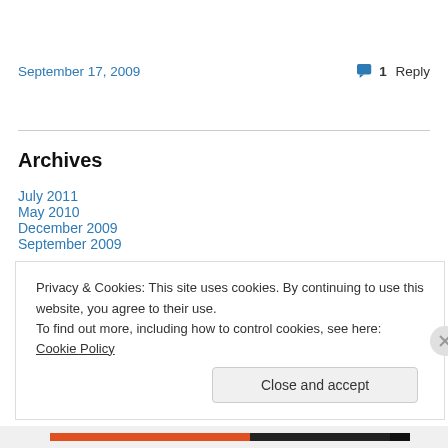September 17, 2009
1 Reply
Archives
July 2011
May 2010
December 2009
September 2009
August 2009
Privacy & Cookies: This site uses cookies. By continuing to use this website, you agree to their use. To find out more, including how to control cookies, see here: Cookie Policy
Close and accept